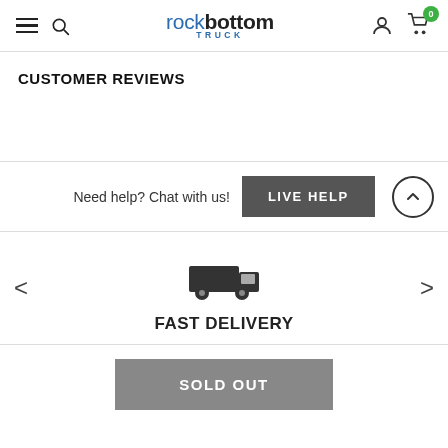rock bottom TRUCK — navigation header with hamburger menu, search, logo, user icon, cart (0)
CUSTOMER REVIEWS
Need help? Chat with us!
LIVE HELP
[Figure (illustration): Truck delivery icon (dark silhouette of a delivery truck)]
FAST DELIVERY
SOLD OUT